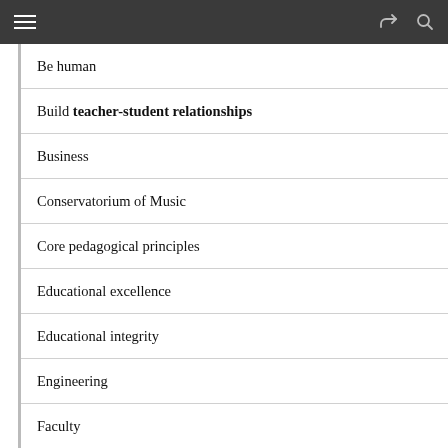Navigation menu header with hamburger, share, and search icons
Be human
Build teacher-student relationships
Business
Conservatorium of Music
Core pedagogical principles
Educational excellence
Educational integrity
Engineering
Faculty